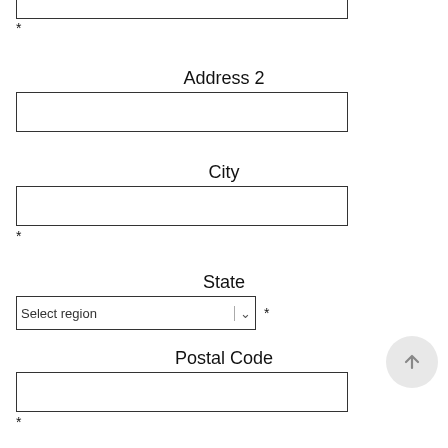*
Address 2
*
City
*
State
Select region *
Postal Code
*